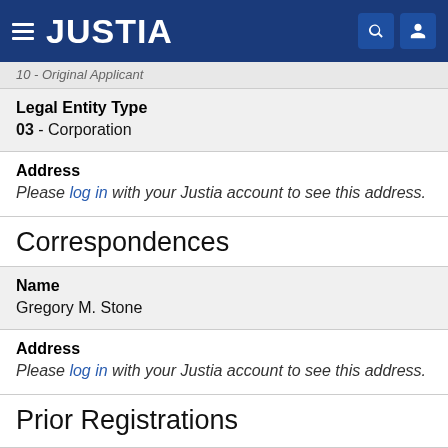JUSTIA
Original Applicant
Legal Entity Type
03 - Corporation
Address
Please log in with your Justia account to see this address.
Correspondences
Name
Gregory M. Stone
Address
Please log in with your Justia account to see this address.
Prior Registrations